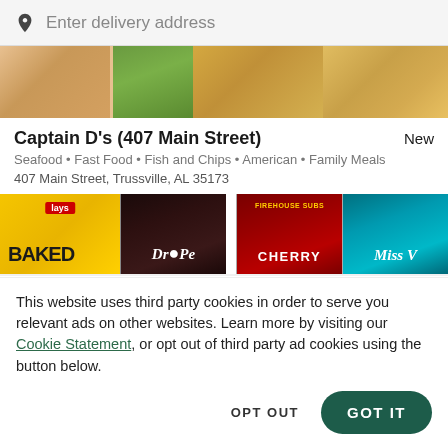[Figure (screenshot): Search bar with location pin icon and placeholder text 'Enter delivery address' on gray background]
[Figure (photo): Food photo banner showing fried seafood, green beans, and french fries]
Captain D's (407 Main Street)
Seafood • Fast Food • Fish and Chips • American • Family Meals
407 Main Street, Trussville, AL 35173
[Figure (photo): Product thumbnails: Lay's Baked chips, Dr Pepper cup, Firehouse Subs Cherry drink, Miss Vickie's chips]
This website uses third party cookies in order to serve you relevant ads on other websites. Learn more by visiting our Cookie Statement, or opt out of third party ad cookies using the button below.